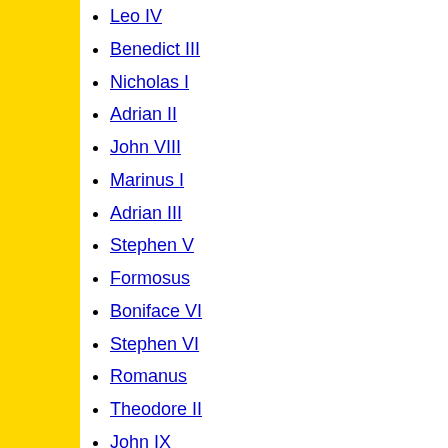Leo IV
Benedict III
Nicholas I
Adrian II
John VIII
Marinus I
Adrian III
Stephen V
Formosus
Boniface VI
Stephen VI
Romanus
Theodore II
John IX
Benedict IV
Leo V
Sergius III
Anastasius III
Lando
John X
Leo VI
Stephen VII
John XI
Leo VII
Stephen VIII